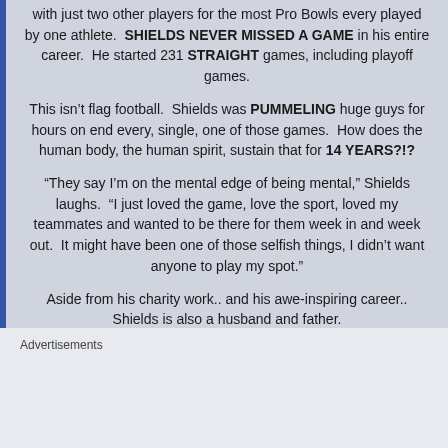with just two other players for the most Pro Bowls every played by one athlete. SHIELDS NEVER MISSED A GAME in his entire career. He started 231 STRAIGHT games, including playoff games.
This isn't flag football. Shields was PUMMELING huge guys for hours on end every, single, one of those games. How does the human body, the human spirit, sustain that for 14 YEARS?!?
“They say I’m on the mental edge of being mental,” Shields laughs. “I just loved the game, love the sport, loved my teammates and wanted to be there for them week in and week out. It might have been one of those selfish things, I didn’t want anyone to play my spot.”
Aside from his charity work.. and his awe-inspiring career.. Shields is also a husband and father.
[Figure (photo): Photo of a person at what appears to be a pink/purple themed event or party, with decorative elements in the background]
Advertisements